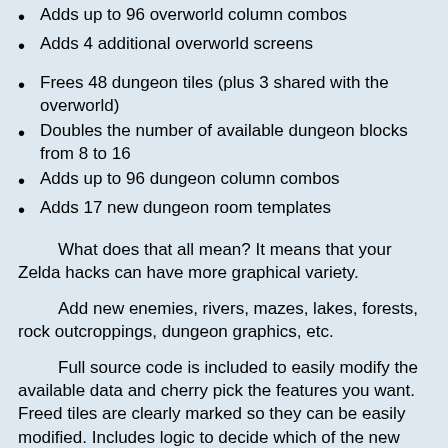Adds up to 96 overworld column combos
Adds 4 additional overworld screens
Frees 48 dungeon tiles (plus 3 shared with the overworld)
Doubles the number of available dungeon blocks from 8 to 16
Adds up to 96 dungeon column combos
Adds 17 new dungeon room templates
What does that all mean? It means that your Zelda hacks can have more graphical variety.
Add new enemies, rivers, mazes, lakes, forests, rock outcroppings, dungeon graphics, etc.
Full source code is included to easily modify the available data and cherry pick the features you want. Freed tiles are clearly marked so they can be easily modified. Includes logic to decide which of the new tiles are solid and which are walkable. Several sample columns have been included which can be used in your hack or be replaced as needed.
Although the hack makes the column and block space available, it's still up to you as the hacker to understand how the data is stored and how to create new columns and screens. It is recommended that you read the document Understanding Zelda Screens, Columns and Blocks...